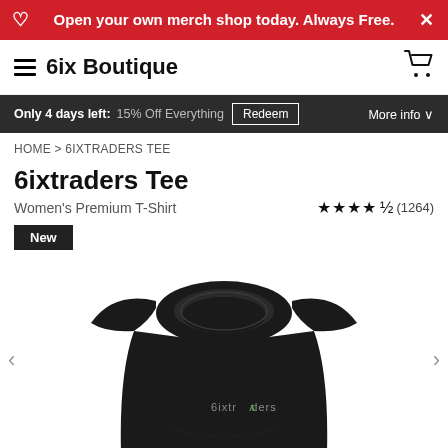Open your own merch shop today. Always Free.
6ix Boutique
Only 4 days left: 15% Off Everything   Redeem   More info
HOME > 6IXTRADERS TEE
6ixtraders Tee
Women's Premium T-Shirt
★★★★½ (1264)
New
[Figure (photo): Black women's premium t-shirt with '6ixtraders' logo text in small lettering on the chest area, displayed on a white background.]